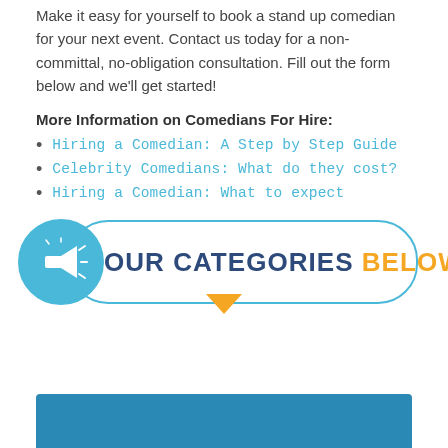Make it easy for yourself to book a stand up comedian for your next event. Contact us today for a non-committal, no-obligation consultation. Fill out the form below and we'll get started!
More Information on Comedians For Hire:
Hiring a Comedian: A Step by Step Guide
Celebrity Comedians: What do they cost?
Hiring a Comedian: What to expect
[Figure (infographic): Teal banner with megaphone circle icon on the left, text 'SEE OUR CATEGORIES BELOW!' with BELOW! in orange, orange downward arrow below]
[Figure (other): Teal/blue rectangle at the bottom of the page]